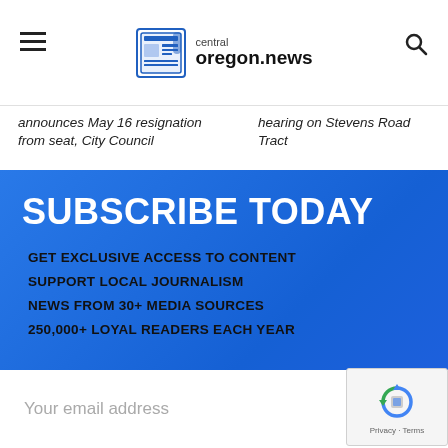central oregon.news
announces May 16 resignation from seat, City Council
hearing on Stevens Road Tract
SUBSCRIBE TODAY
GET EXCLUSIVE ACCESS TO CONTENT
SUPPORT LOCAL JOURNALISM
NEWS FROM 30+ MEDIA SOURCES
250,000+ LOYAL READERS EACH YEAR
Your email address